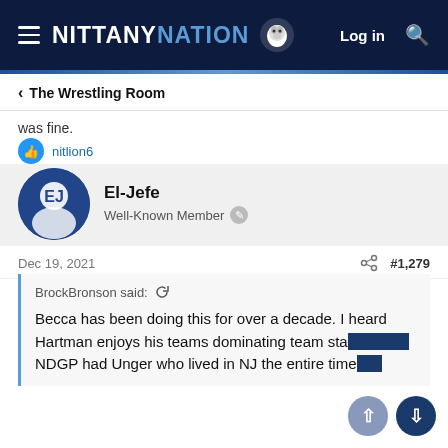NITTANY NATION — Log in
‹ The Wrestling Room
was fine.
nitlion6
El-Jefe
Well-Known Member
Dec 19, 2021   #1,279
BrockBronson said: ↺

Becca has been doing this for over a decade. I heard Hartman enjoys his teams dominating team sta… NDGP had Unger who lived in NJ the entire time…